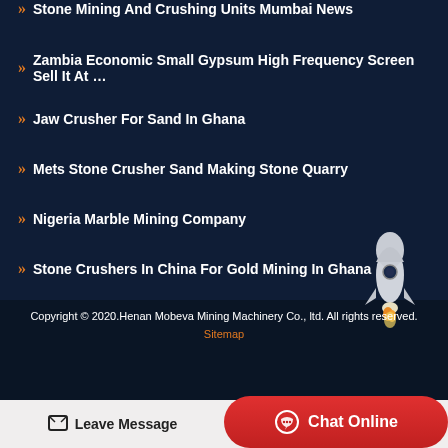Stone Mining And Crushing Units Mumbai News
Zambia Economic Small Gypsum High Frequency Screen Sell It At …
Jaw Crusher For Sand In Ghana
Mets Stone Crusher Sand Making Stone Quarry
Nigeria Marble Mining Company
Stone Crushers In China For Gold Mining In Ghana
Copyright © 2020.Henan Mobeva Mining Machinery Co., ltd. All rights reserved. Sitemap
Leave Message
Chat Online